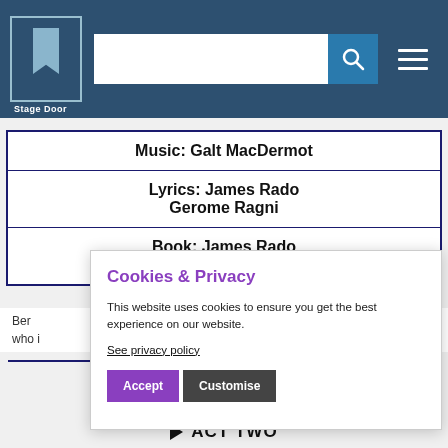Stage Door
| Music: Galt MacDermot |
| Lyrics: James Rado
Gerome Ragni |
| Book: James Rado
Gerome Ragni |
Be... es who i... led
Cookies & Privacy
This website uses cookies to ensure you get the best experience on our website.
See privacy policy
Accept  Customise
▶ ACT TWO